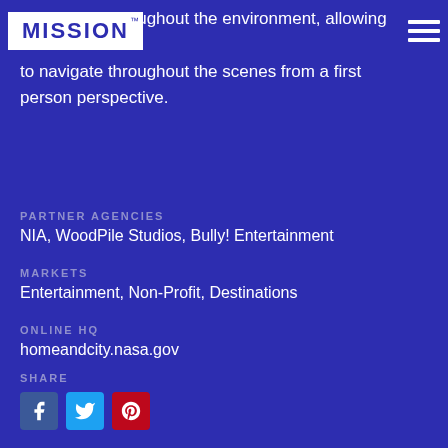to navigate throughout the environment, allowing users to navigate throughout the scenes from a first person perspective.
MISSION™
PARTNER AGENCIES
NIA, WoodPile Studios, Bully! Entertainment
MARKETS
Entertainment, Non-Profit, Destinations
ONLINE HQ
homeandcity.nasa.gov
SHARE
[Figure (other): Social media share icons: Facebook, Twitter, Pinterest]